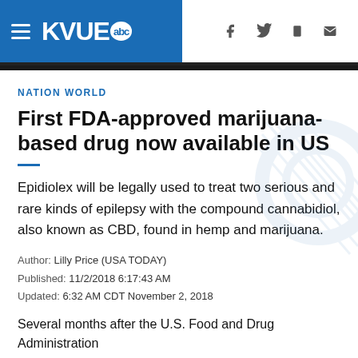KVUE abc — Navigation header with social/share icons
NATION WORLD
First FDA-approved marijuana-based drug now available in US
Epidiolex will be legally used to treat two serious and rare kinds of epilepsy with the compound cannabidiol, also known as CBD, found in hemp and marijuana.
Author: Lilly Price (USA TODAY)
Published: 11/2/2018 6:17:43 AM
Updated: 6:32 AM CDT November 2, 2018
Several months after the U.S. Food and Drug Administration